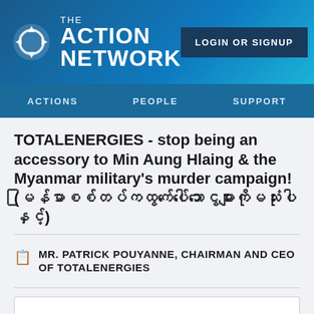THE ACTION NETWORK | LOGIN OR SIGNUP | ACTIONS | PEOPLE | SUPPORT
TOTALENERGIES - stop being an accessory to Min Aung Hlaing & the Myanmar military's murder campaign! (မြန်မာစစ်တပ်ကထွက်ပေါ်သောငွေများကိုမသုံးပါနှင့်)
MR. PATRICK POUYANNE, CHAIRMAN AND CEO OF TOTALENERGIES